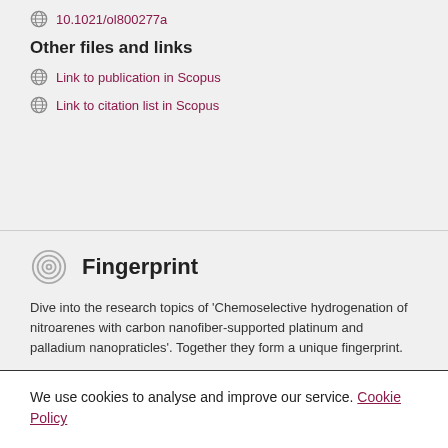10.1021/ol800277a
Other files and links
Link to publication in Scopus
Link to citation list in Scopus
Fingerprint
Dive into the research topics of 'Chemoselective hydrogenation of nitroarenes with carbon nanofiber-supported platinum and palladium nanopraticles'. Together they form a unique fingerprint.
We use cookies to analyse and improve our service. Cookie Policy